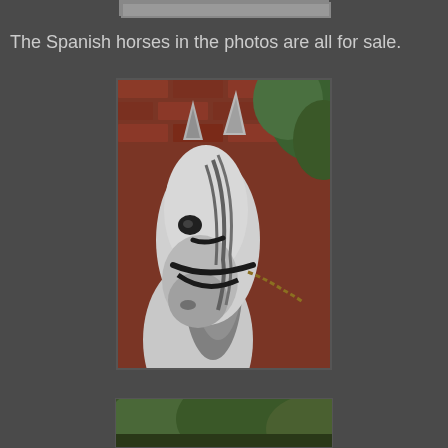[Figure (photo): Partial view of a horse photo strip at the top of the page, partially cropped]
The Spanish horses in the photos are all for sale.
[Figure (photo): Close-up portrait photograph of a grey Spanish horse head with a black halter/bridle, set against a red brick wall background with green foliage. The horse has a white/grey coat with darker grey mane.]
[Figure (photo): Partial view of another horse photo at the bottom of the page, partially cropped, showing green outdoor background]